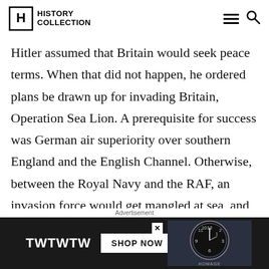HISTORY COLLECTION
Hitler assumed that Britain would seek peace terms. When that did not happen, he ordered plans be drawn up for invading Britain, Operation Sea Lion. A prerequisite for success was German air superiority over southern England and the English Channel. Otherwise, between the Royal Navy and the RAF, an invasion force would get mangled at sea, and any survivors
Advertisement
[Figure (other): Advertisement banner: TWTWTW brand with SHOP NOW button and watch image with HOMAGE label]